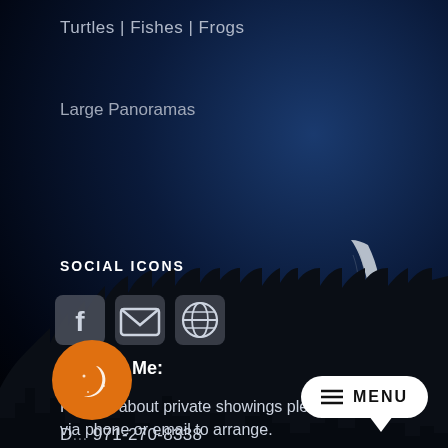Turtles | Fishes | Frogs
Large Panoramas
SOCIAL ICONS
[Figure (illustration): Three social media icons: Facebook (f), Email (envelope), Globe/Website]
[Figure (illustration): Crescent moon in night sky with tree silhouettes at bottom]
Contact Me:
For info about private showings please contact me via phone or email to arrange.
D... 971-270-8338
[Figure (illustration): Orange circular button with crescent moon and stars icon]
[Figure (illustration): White rounded MENU button with hamburger icon and arrow pointer]